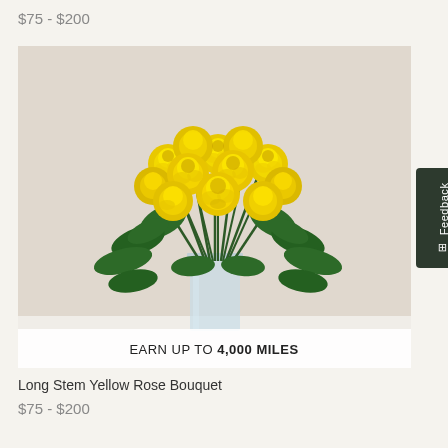$75 - $200
[Figure (photo): Long stem yellow rose bouquet in a clear glass vase with green leaves, photographed against a beige/cream background. An overlay banner at the bottom reads 'EARN UP TO 4,000 MILES'.]
EARN UP TO 4,000 MILES
Long Stem Yellow Rose Bouquet
$75 - $200